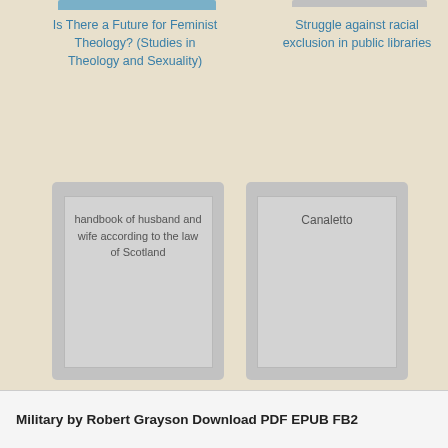[Figure (illustration): Partial book cover thumbnail (top left) for 'Is There a Future for Feminist Theology?']
Is There a Future for Feminist Theology? (Studies in Theology and Sexuality)
[Figure (illustration): Partial book cover thumbnail (top right) for 'Struggle against racial exclusion in public libraries']
Struggle against racial exclusion in public libraries
[Figure (illustration): Book cover placeholder for 'handbook of husband and wife according to the law of Scotland']
handbook of husband and wife according to the law of Scotland
[Figure (illustration): Book cover placeholder for 'Canaletto']
Canaletto
Military by Robert Grayson Download PDF EPUB FB2